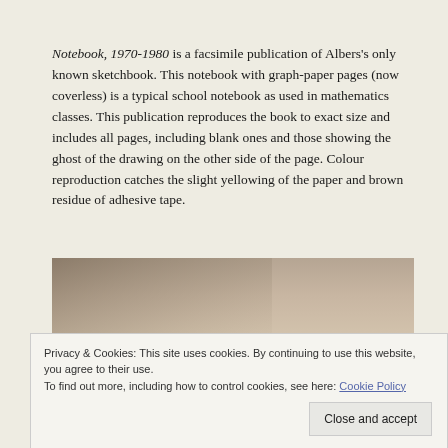Notebook, 1970-1980 is a facsimile publication of Albers's only known sketchbook. This notebook with graph-paper pages (now coverless) is a typical school notebook as used in mathematics classes. This publication reproduces the book to exact size and includes all pages, including blank ones and those showing the ghost of the drawing on the other side of the page. Colour reproduction catches the slight yellowing of the paper and brown residue of adhesive tape.
[Figure (photo): Photograph of a notebook with yellowed/aged pages, showing the spine and cover area. The image shows brown and beige tones with a decorative pattern visible at the bottom.]
Privacy & Cookies: This site uses cookies. By continuing to use this website, you agree to their use. To find out more, including how to control cookies, see here: Cookie Policy
Close and accept